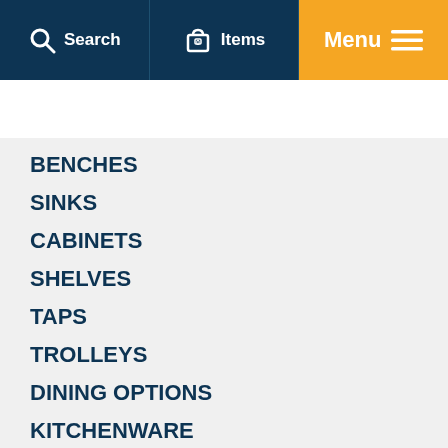Search  |  0 Items  |  Menu
BENCHES
SINKS
CABINETS
SHELVES
TAPS
TROLLEYS
DINING OPTIONS
KITCHENWARE
[Figure (illustration): Partial view of a circular sink or bowl, teal/blue colored, visible at the bottom of the page]